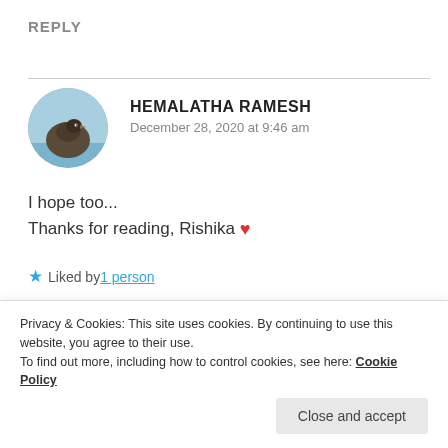REPLY
HEMALATHA RAMESH
December 28, 2020 at 9:46 am
[Figure (photo): Circular profile photo of user Hemalatha Ramesh, showing a bird or animal against a blue sky background]
I hope too...
Thanks for reading, Rishika ❤
★ Liked by 1 person
REPLY
Privacy & Cookies: This site uses cookies. By continuing to use this website, you agree to their use.
To find out more, including how to control cookies, see here: Cookie Policy
Close and accept